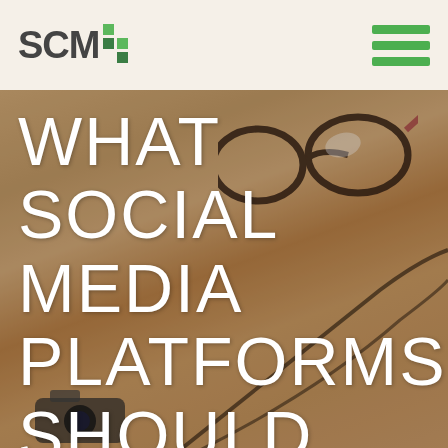[Figure (logo): SCM+ logo with colored pixel grid icon in top left, hamburger menu icon in top right on a beige/cream header bar]
[Figure (photo): Background photo of a wooden desk with glasses, a camera, cables and a phone/tablet, slightly darkened overlay]
WHAT SOCIAL MEDIA PLATFORMS SHOULD YOUR BUSINESS BE